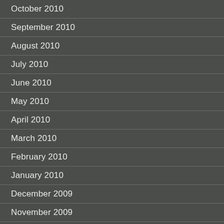October 2010
September 2010
August 2010
July 2010
June 2010
May 2010
April 2010
March 2010
February 2010
January 2010
December 2009
November 2009